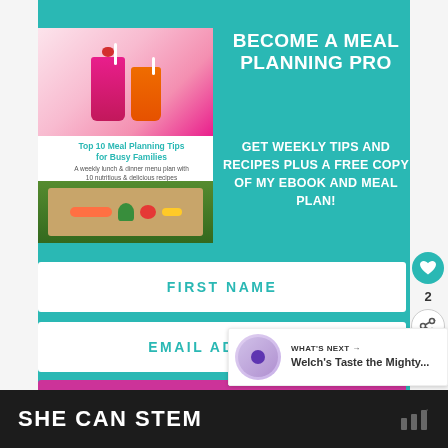[Figure (infographic): Teal/turquoise background promotional card with book cover image on left showing 'Top 10 Meal Planning Tips for Busy Families' by Jessica Levinson, featuring smoothie glasses and vegetables. Right side has bold white text headline. Below are form input fields for First Name and Email Address, and a pink/magenta 'I'M IN!' button. Social sidebar with heart icon showing 2 likes. What's Next panel in lower right. Bottom black banner with SHE CAN STEM text.]
BECOME A MEAL PLANNING PRO
GET WEEKLY TIPS AND RECIPES PLUS A FREE COPY OF MY EBOOK AND MEAL PLAN!
FIRST NAME
EMAIL ADDRESS
I'M IN!
2
WHAT'S NEXT → Welch's Taste the Mighty...
SHE CAN STEM